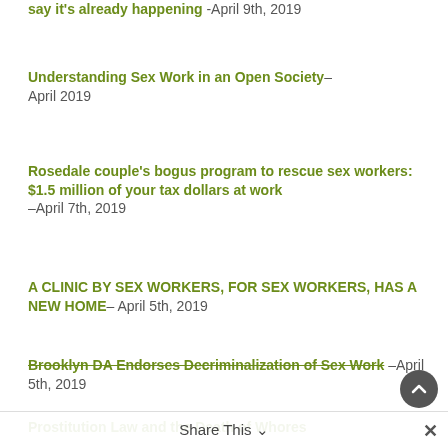say it's already happening –April 9th, 2019
Understanding Sex Work in an Open Society– April 2019
Rosedale couple's bogus program to rescue sex workers: $1.5 million of your tax dollars at work –April 7th, 2019
A CLINIC BY SEX WORKERS, FOR SEX WORKERS, HAS A NEW HOME– April 5th, 2019
Brooklyn DA Endorses Decriminalization of Sex Work – April 5th, 2019
Prostitution Law and the Death of Whores
Share This ∨